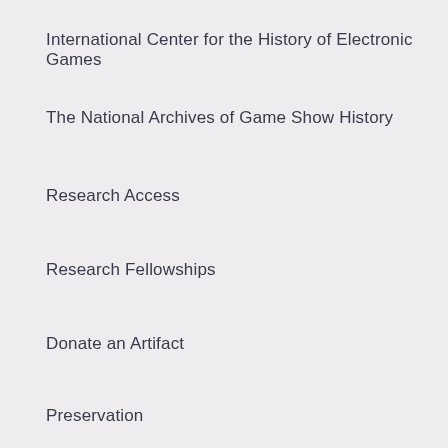International Center for the History of Electronic Games
The National Archives of Game Show History
Research Access
Research Fellowships
Donate an Artifact
Preservation
Support